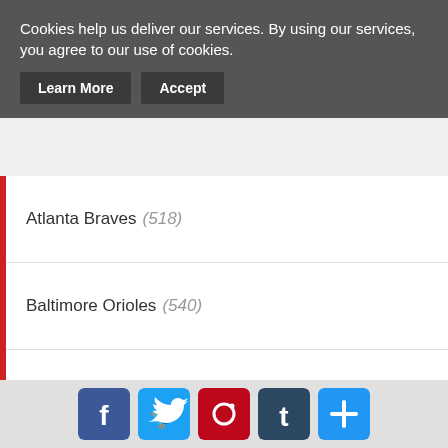Cookies help us deliver our services. By using our services, you agree to our use of cookies.
Atlanta Braves (518)
Baltimore Orioles (540)
Boston Red Sox (562)
Chicago White Sox (661)
Chicago Cubs (755)
Cincinnati Reds (647)
Cleveland Indians (650)
Colorado Rockies (625)
[Figure (infographic): Social sharing icons: Facebook, Twitter, Pinterest, Tumblr, and a plus/share button]